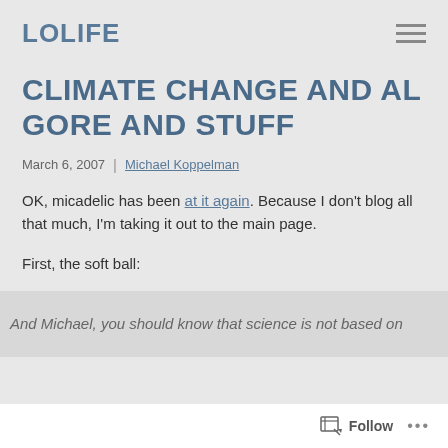LOLIFE
CLIMATE CHANGE AND AL GORE AND STUFF
March 6, 2007 | Michael Koppelman
OK, micadelic has been at it again. Because I don't blog all that much, I'm taking it out to the main page.
First, the soft ball:
And Michael, you should know that science is not based on
Follow ...